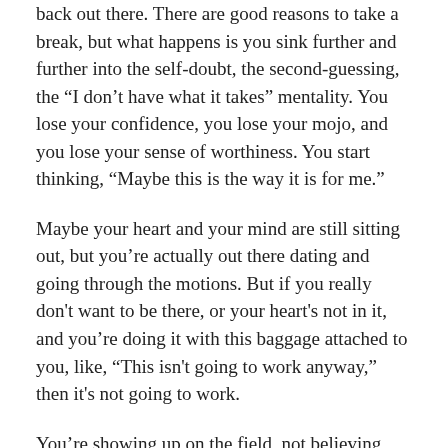back out there. There are good reasons to take a break, but what happens is you sink further and further into the self-doubt, the second-guessing, the “I don’t have what it takes” mentality. You lose your confidence, you lose your mojo, and you lose your sense of worthiness. You start thinking, “Maybe this is the way it is for me.”
Maybe your heart and your mind are still sitting out, but you’re actually out there dating and going through the motions. But if you really don't want to be there, or your heart's not in it, and you’re doing it with this baggage attached to you, like, “This isn't going to work anyway,” then it's not going to work.
You’re showing up on the field, not believing that you can win. How is that going to affect your result? Are you ever going to win a game if you don’t believe that you can?
The longer you sit on the bench, the more you watch